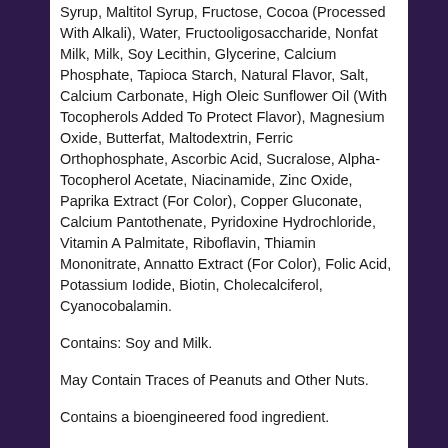Syrup, Maltitol Syrup, Fructose, Cocoa (Processed With Alkali), Water, Fructooligosaccharide, Nonfat Milk, Milk, Soy Lecithin, Glycerine, Calcium Phosphate, Tapioca Starch, Natural Flavor, Salt, Calcium Carbonate, High Oleic Sunflower Oil (With Tocopherols Added To Protect Flavor), Magnesium Oxide, Butterfat, Maltodextrin, Ferric Orthophosphate, Ascorbic Acid, Sucralose, Alpha-Tocopherol Acetate, Niacinamide, Zinc Oxide, Paprika Extract (For Color), Copper Gluconate, Calcium Pantothenate, Pyridoxine Hydrochloride, Vitamin A Palmitate, Riboflavin, Thiamin Mononitrate, Annatto Extract (For Color), Folic Acid, Potassium Iodide, Biotin, Cholecalciferol, Cyanocobalamin.
Contains: Soy and Milk.
May Contain Traces of Peanuts and Other Nuts.
Contains a bioengineered food ingredient.